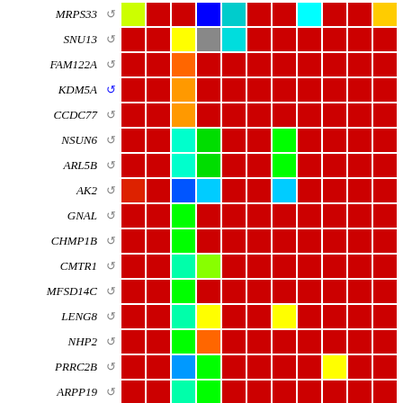[Figure (other): Heatmap grid showing gene expression or similar data for genes MRPS33, SNU13, FAM122A, KDM5A, CCDC77, NSUN6, ARL5B, AK2, GNAL, CHMP1B, CMTR1, MFSD14C, LENG8, NHP2, PRRC2B, ARPP19 across multiple conditions/samples, with colored cells (red, green, cyan, blue, yellow, orange, gray, lime) indicating expression levels.]